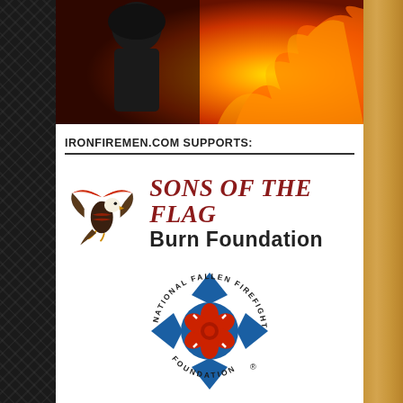[Figure (photo): Firefighter in gear with fire/flames in background]
IRONFIREMEN.COM SUPPORTS:
[Figure (logo): Sons of the Flag Burn Foundation logo with eagle carrying American flag]
[Figure (logo): National Fallen Firefighters Foundation circular logo with blue Maltese cross and red rose]